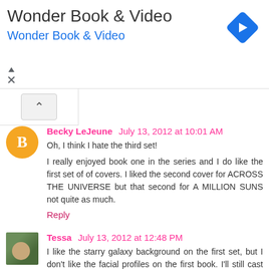[Figure (other): Wonder Book & Video advertisement banner with blue navigation arrow icon, advertiser name in gray large text and blue subtitle link, with triangle and X ad controls]
Becky LeJeune  July 13, 2012 at 10:01 AM
Oh, I think I hate the third set!

I really enjoyed book one in the series and I do like the first set of of covers. I liked the second cover for ACROSS THE UNIVERSE but that second for A MILLION SUNS not quite as much.
Reply
Tessa  July 13, 2012 at 12:48 PM
I like the starry galaxy background on the first set, but I don't like the facial profiles on the first book. I'll still cast my vote for the first set.

You're right. The third set is to reminiscent of Artemis Fowl to set